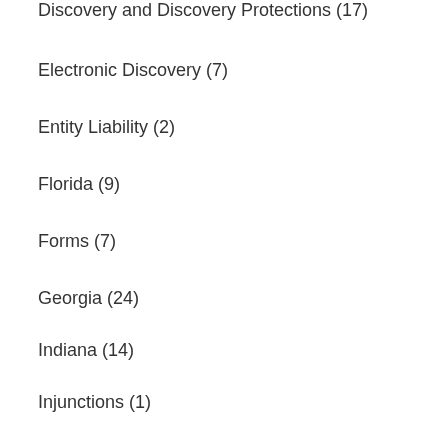Discovery and Discovery Protections (17)
Electronic Discovery (7)
Entity Liability (2)
Florida (9)
Forms (7)
Georgia (24)
Indiana (14)
Injunctions (1)
Insurance (5)
Insurance Coverage (6)
International Courts (13)
Iowa (5)